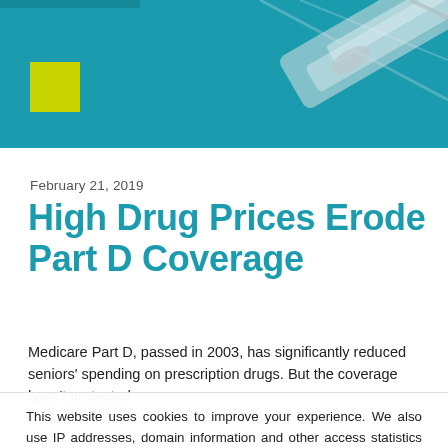[Figure (photo): Header image with teal/blue background and medical syringes visible on the right side, with a yellow-green square logo element on the left]
February 21, 2019
High Drug Prices Erode Part D Coverage
Medicare Part D, passed in 2003, has significantly reduced seniors' spending on prescription drugs. But the coverage hasn't protected
This website uses cookies to improve your experience. We also use IP addresses, domain information and other access statistics to administer the site and analyze usage trends. If you prefer to opt out, you can select Update settings. Read our Privacy Policy.